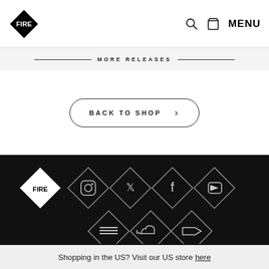FIRE [logo] | search | basket | MENU
MORE RELEASES
BACK TO SHOP >
[Figure (logo): FIRE brand logo and social media icons (Instagram, Twitter, Facebook, YouTube, Mixcloud, SoundCloud, Bandcamp) in diamond shapes on black background]
Shopping in the US? Visit our US store here